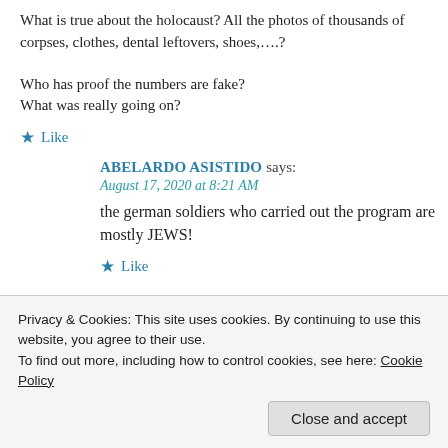What is true about the holocaust? All the photos of thousands of corpses, clothes, dental leftovers, shoes,….?
Who has proof the numbers are fake?
What was really going on?
★ Like
ABELARDO ASISTIDO says:
August 17, 2020 at 8:21 AM
the german soldiers who carried out the program are mostly JEWS!
★ Like
michael marcus says:
Reply
Privacy & Cookies: This site uses cookies. By continuing to use this website, you agree to their use.
To find out more, including how to control cookies, see here: Cookie Policy
Close and accept